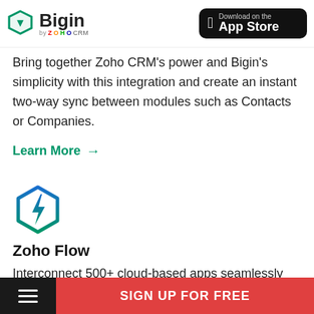Bigin by ZOHO CRM — Download on the App Store
Bring together Zoho CRM's power and Bigin's simplicity with this integration and create an instant two-way sync between modules such as Contacts or Companies.
Learn More →
[Figure (logo): Zoho Flow icon — hexagon shape with lightning bolt, blue and green outline]
Zoho Flow
Interconnect 500+ cloud-based apps seamlessly with your Bigin account and automate workflows for data transfer. No coding required.
SIGN UP FOR FREE